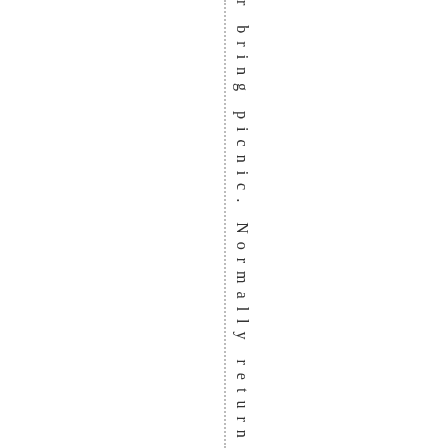r bring picnic. Normally return to E